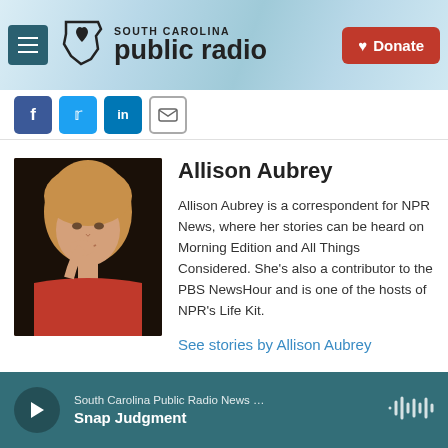South Carolina Public Radio
[Figure (photo): Headshot photo of Allison Aubrey]
Allison Aubrey
Allison Aubrey is a correspondent for NPR News, where her stories can be heard on Morning Edition and All Things Considered. She's also a contributor to the PBS NewsHour and is one of the hosts of NPR's Life Kit.
See stories by Allison Aubrey
South Carolina Public Radio News … Snap Judgment